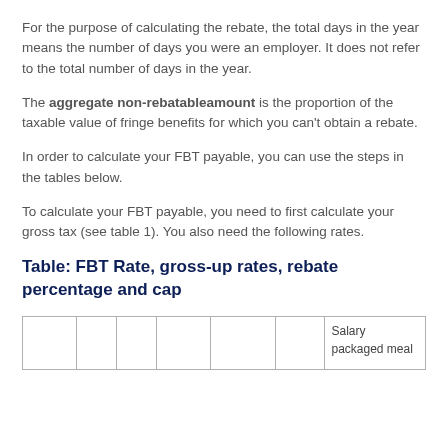For the purpose of calculating the rebate, the total days in the year means the number of days you were an employer. It does not refer to the total number of days in the year.
The aggregate non-rebatableamount is the proportion of the taxable value of fringe benefits for which you can't obtain a rebate.
In order to calculate your FBT payable, you can use the steps in the tables below.
To calculate your FBT payable, you need to first calculate your gross tax (see table 1). You also need the following rates.
Table: FBT Rate, gross-up rates, rebate percentage and cap
|  |  |  |  |  |  | Salary packaged meal... |
| --- | --- | --- | --- | --- | --- | --- |